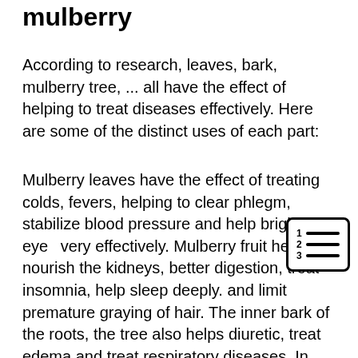mulberry
According to research, leaves, bark, mulberry tree, ... all have the effect of helping to treat diseases effectively. Here are some of the distinct uses of each part:
Mulberry leaves have the effect of treating colds, fevers, helping to clear phlegm, stabilize blood pressure and help bright eyes very effectively. Mulberry fruit helps to nourish the kidneys, better digestion, treat insomnia, help sleep deeply. and limit premature graying of hair. The inner bark of the roots, the tree also helps diuretic, treat edema and treat respiratory diseases. In addition, the plants that live on the mulberry tree also have a tonic effect. liver, kidney
[Figure (other): Numbered list icon: a small icon showing lines with numbers 1, 2, 3 next to horizontal lines, inside a rounded rectangle border]